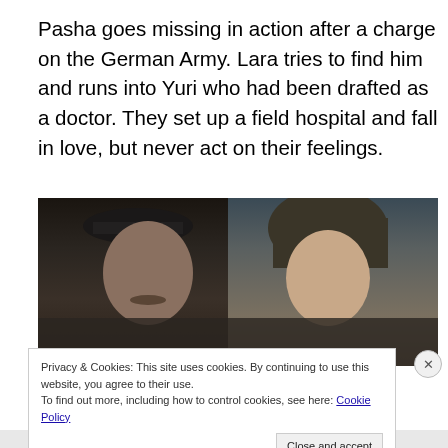Pasha goes missing in action after a charge on the German Army. Lara tries to find him and runs into Yuri who had been drafted as a doctor. They set up a field hospital and fall in love, but never act on their feelings.
[Figure (photo): A film still showing two actors — a man wearing a dark military cap on the left and a woman wearing a hood on the right — seated together outdoors with a crowd visible in the background.]
Privacy & Cookies: This site uses cookies. By continuing to use this website, you agree to their use.
To find out more, including how to control cookies, see here: Cookie Policy
Close and accept